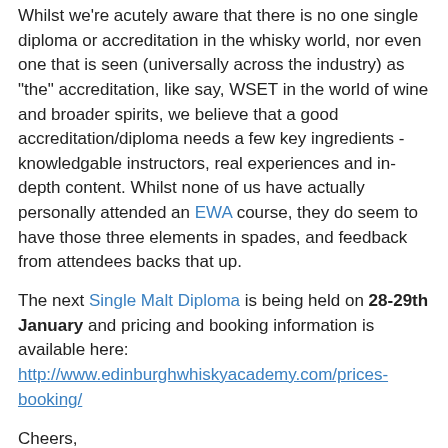Whilst we're acutely aware that there is no one single diploma or accreditation in the whisky world, nor even one that is seen (universally across the industry) as "the" accreditation, like say, WSET in the world of wine and broader spirits, we believe that a good accreditation/diploma needs a few key ingredients - knowledgable instructors, real experiences and in-depth content. Whilst none of us have actually personally attended an EWA course, they do seem to have those three elements in spades, and feedback from attendees backs that up.
The next Single Malt Diploma is being held on 28-29th January and pricing and booking information is available here: http://www.edinburghwhiskyacademy.com/prices-booking/
Cheers,
Martin.
Martin at Monday, January 16, 2017   No comments: